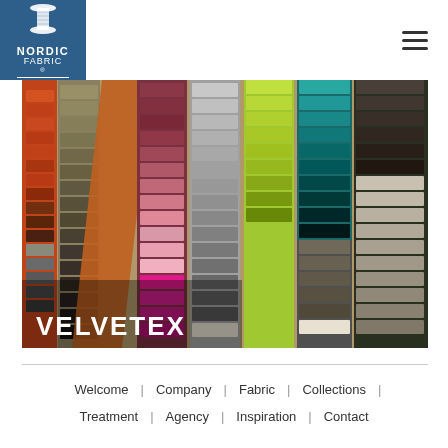[Figure (logo): Nordic Fabric logo — thread spool icon above NORDIC FABRIC text on blue background]
[Figure (photo): Velvetex fabric swatches in many colors arranged in diagonal rows — orange, green, burgundy, purple, pink, yellow-green, teal, grey — with VELVETEX text overlay in white]
Welcome | Company | Fabric | Collections | Treatment | Agency | Inspiration | Contact